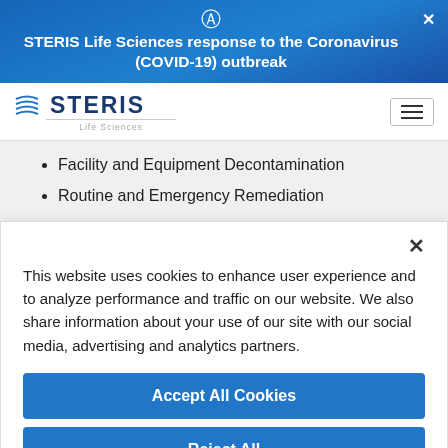STERIS Life Sciences response to the Coronavirus (COVID-19) outbreak
[Figure (logo): STERIS Life Sciences logo with wave icon]
Facility and Equipment Decontamination
Routine and Emergency Remediation
This website uses cookies to enhance user experience and to analyze performance and traffic on our website. We also share information about your use of our site with our social media, advertising and analytics partners.
Accept All Cookies
Reject All
Cookies Settings